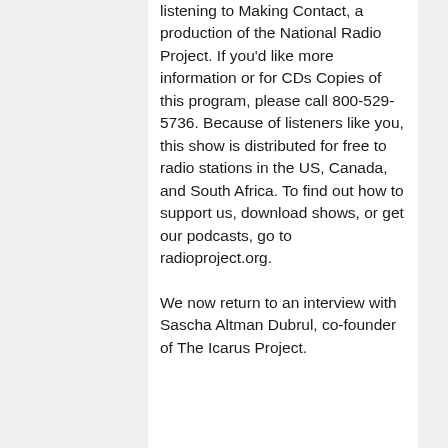listening to Making Contact, a production of the National Radio Project. If you'd like more information or for CDs Copies of this program, please call 800-529-5736. Because of listeners like you, this show is distributed for free to radio stations in the US, Canada, and South Africa. To find out how to support us, download shows, or get our podcasts, go to radioproject.org.
We now return to an interview with Sascha Altman Dubrul, co-founder of The Icarus Project.